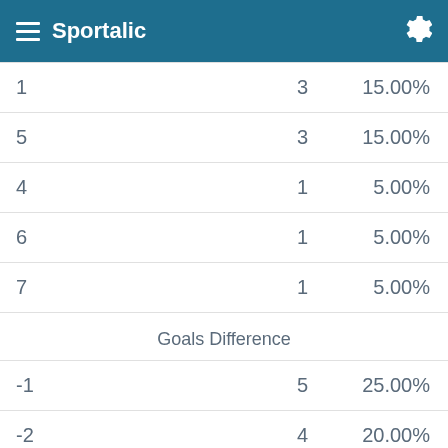Sportalic
| 1 | 3 | 15.00% |
| 5 | 3 | 15.00% |
| 4 | 1 | 5.00% |
| 6 | 1 | 5.00% |
| 7 | 1 | 5.00% |
Goals Difference
| -1 | 5 | 25.00% |
| -2 | 4 | 20.00% |
| -3 | 4 | 20.00% |